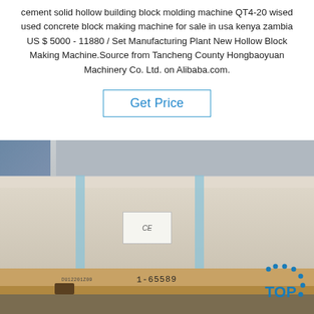cement solid hollow building block molding machine QT4-20 wised used concrete block making machine for sale in usa kenya zambia US $ 5000 - 11880 / Set Manufacturing Plant New Hollow Block Making Machine.Source from Tancheng County Hongbaoyuan Machinery Co. Ltd. on Alibaba.com.
Get Price
[Figure (photo): A large machine or equipment wrapped in packaging material (beige/cream colored wrap) secured with light blue straps, sitting on a wooden pallet. A CE certification label sticker is visible on the package. A person in a blue patterned jacket is visible on the left. Industrial machinery is visible in the background at the top. A 'TOP' logo with dots appears in the bottom right corner. Handwritten markings and a barcode label are visible on the pallet.]